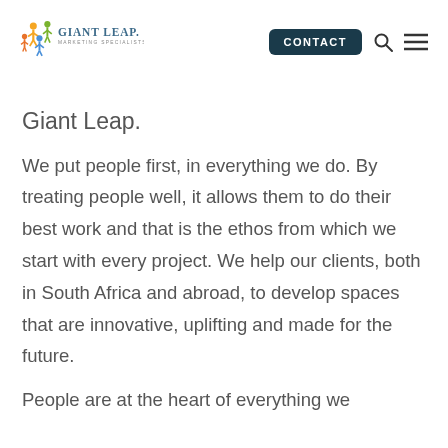[Figure (logo): Giant Leap Marketing Specialists logo with colorful figures and text]
CONTACT
Giant Leap.
We put people first, in everything we do. By treating people well, it allows them to do their best work and that is the ethos from which we start with every project. We help our clients, both in South Africa and abroad, to develop spaces that are innovative, uplifting and made for the future.
People are at the heart of everything we do, so this goes beyond...